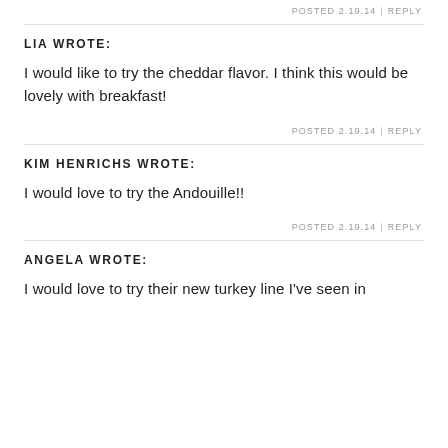POSTED 2.19.14  |  REPLY
LIA WROTE:
I would like to try the cheddar flavor. I think this would be lovely with breakfast!
POSTED 2.19.14  |  REPLY
KIM HENRICHS WROTE:
I would love to try the Andouille!!
POSTED 2.19.14  |  REPLY
ANGELA WROTE:
I would love to try their new turkey line I've seen in